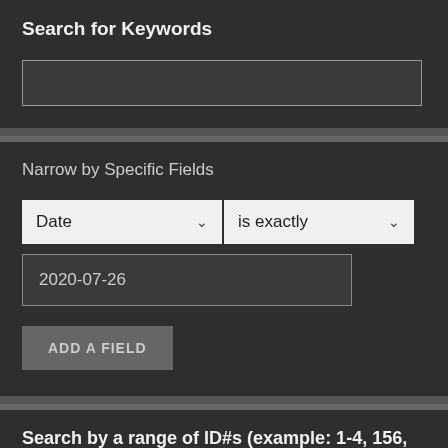Search for Keywords
[Figure (screenshot): Empty text input box for keyword search]
Narrow by Specific Fields
[Figure (screenshot): Dropdown selector showing 'Date' field option]
[Figure (screenshot): Dropdown selector showing 'is exactly' condition]
[Figure (screenshot): Date input field showing '2020-07-26']
[Figure (screenshot): Button labeled 'ADD A FIELD']
Search by a range of ID#s (example: 1-4, 156, 79)